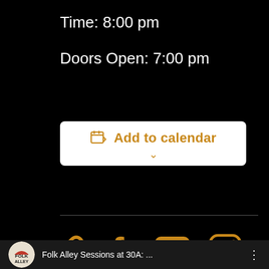Time: 8:00 pm
Doors Open: 7:00 pm
Add to calendar
[Figure (screenshot): Horizontal rule divider line]
[Figure (infographic): Social media icons: link/chain icon, Facebook f icon, YouTube play button icon, Instagram camera icon, all in golden/amber color on black background]
[Figure (screenshot): Footer bar showing Folk Alley logo (circular badge with FOLK ALLEY text) followed by 'Folk Alley Sessions at 30A: ...' title and three-dot menu icon]